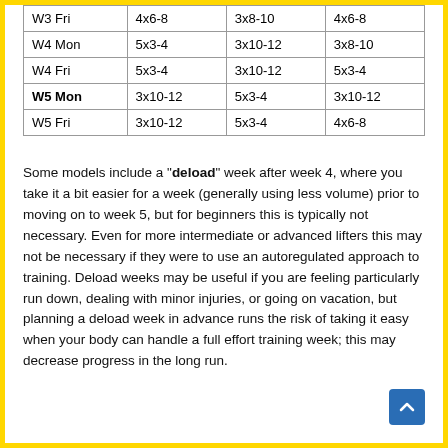| W3 Fri | 4x6-8 | 3x8-10 | 4x6-8 |
| W4 Mon | 5x3-4 | 3x10-12 | 3x8-10 |
| W4 Fri | 5x3-4 | 3x10-12 | 5x3-4 |
| W5 Mon | 3x10-12 | 5x3-4 | 3x10-12 |
| W5 Fri | 3x10-12 | 5x3-4 | 4x6-8 |
Some models include a "deload" week after week 4, where you take it a bit easier for a week (generally using less volume) prior to moving on to week 5, but for beginners this is typically not necessary. Even for more intermediate or advanced lifters this may not be necessary if they were to use an autoregulated approach to training. Deload weeks may be useful if you are feeling particularly run down, dealing with minor injuries, or going on vacation, but planning a deload week in advance runs the risk of taking it easy when your body can handle a full effort training week; this may decrease progress in the long run.